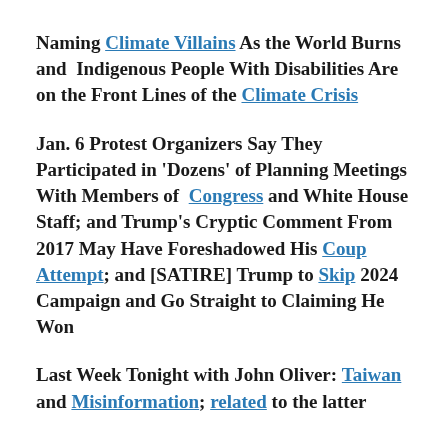Naming Climate Villains As the World Burns and Indigenous People With Disabilities Are on the Front Lines of the Climate Crisis
Jan. 6 Protest Organizers Say They Participated in 'Dozens' of Planning Meetings With Members of Congress and White House Staff; and Trump's Cryptic Comment From 2017 May Have Foreshadowed His Coup Attempt; and [SATIRE] Trump to Skip 2024 Campaign and Go Straight to Claiming He Won
Last Week Tonight with John Oliver: Taiwan and Misinformation; related to the latter